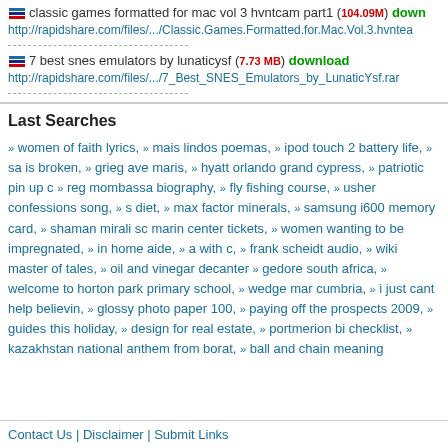classic games formatted for mac vol 3 hvntcam part1 (104.09M) download http://rapidshare.com/files/.../Classic.Games.Formatted.for.Mac.Vol.3.hvntea
7 best snes emulators by lunaticysf (7.73 MB) download http://rapidshare.com/files/.../7_Best_SNES_Emulators_by_LunaticYsf.rar
Last Searches
women of faith lyrics, mais lindos poemas, ipod touch 2 battery life, sa is broken, grieg ave maris, hyatt orlando grand cypress, patriotic pin up c reg mombassa biography, fly fishing course, usher confessions song, s diet, max factor minerals, samsung i600 memory card, shaman mirali sc marin center tickets, women wanting to be impregnated, in home aide, a with c, frank scheidt audio, wiki master of tales, oil and vinegar decanter gedore south africa, welcome to horton park primary school, wedge mar cumbria, i just cant help believin, glossy photo paper 100, paying off the prospects 2009, guides this holiday, design for real estate, portmerion bi checklist, kazakhstan national anthem from borat, ball and chain meaning
Contact Us | Disclaimer | Submit Links